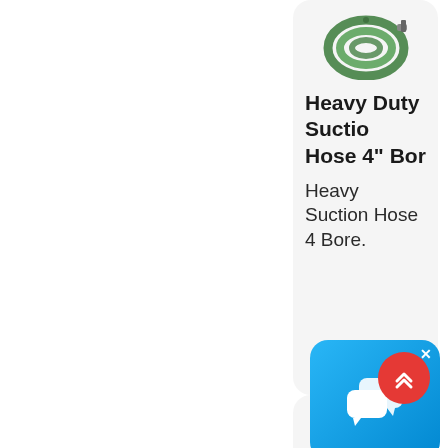[Figure (photo): Green coiled suction hose product image]
Heavy Duty Suctio Hose 4" Bor
Heavy Suction Hose 4 Bore.
[Figure (screenshot): Chat widget overlay with speech bubble icon and X close button]
[Figure (other): Red scroll-to-top button with double chevron up arrows]
[Figure (photo): Red curved hose segment product image]
Kanali